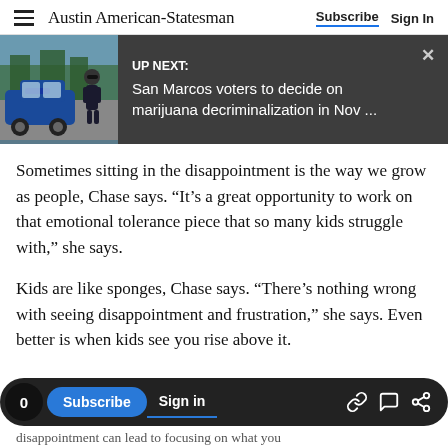Austin American-Statesman — Subscribe | Sign In
[Figure (screenshot): UP NEXT banner with photo of police officer near blue car. Headline: San Marcos voters to decide on marijuana decriminalization in Nov ...]
Sometimes sitting in the disappointment is the way we grow as people, Chase says. “It’s a great opportunity to work on that emotional tolerance piece that so many kids struggle with,” she says.
Kids are like sponges, Chase says. “There’s nothing wrong with seeing disappointment and frustration,” she says. Even better is when kids see you rise above it.
0  Subscribe  Sign in  [link icon] [comment icon] [share icon]
disappointment can lead to focusing on what you